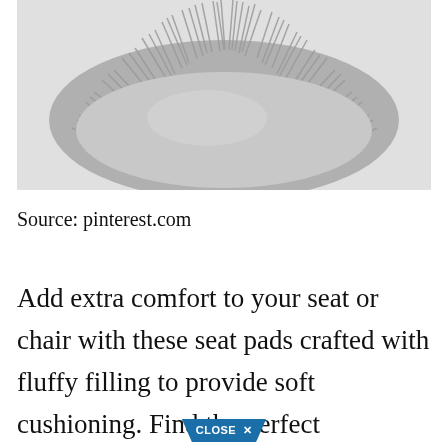[Figure (photo): A round fluffy gray faux fur cushion/seat pad photographed from above against a light gray background.]
Source: pinterest.com
Add extra comfort to your seat or chair with these seat pads crafted with fluffy filling to provide soft cushioning. Find the perfect decorative accents at Hayneedle
[Figure (other): Close X button overlay in blue trapezoid shape]